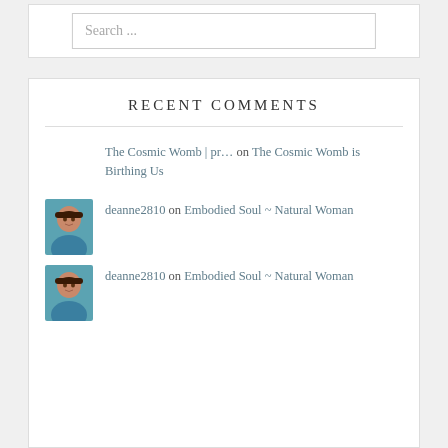[Figure (screenshot): Search widget box with input field showing placeholder text 'Search ...']
RECENT COMMENTS
The Cosmic Womb | pr… on The Cosmic Womb is Birthing Us
deanne2810 on Embodied Soul ~ Natural Woman
deanne2810 on Embodied Soul ~ Natural Woman